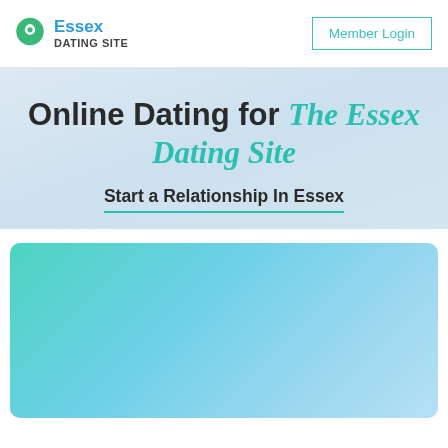[Figure (logo): Essex Dating Site logo with green map pin icon and blue 'Essex Dating Site' text]
Member Login
Online Dating for The Essex Dating Site
Start a Relationship In Essex
[Figure (illustration): Gradient turquoise to light blue card/image area]